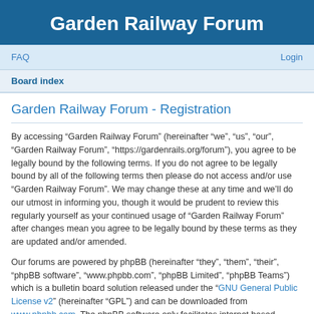Garden Railway Forum
FAQ    Login
Board index
Garden Railway Forum - Registration
By accessing “Garden Railway Forum” (hereinafter “we”, “us”, “our”, “Garden Railway Forum”, “https://gardenrails.org/forum”), you agree to be legally bound by the following terms. If you do not agree to be legally bound by all of the following terms then please do not access and/or use “Garden Railway Forum”. We may change these at any time and we’ll do our utmost in informing you, though it would be prudent to review this regularly yourself as your continued usage of “Garden Railway Forum” after changes mean you agree to be legally bound by these terms as they are updated and/or amended.
Our forums are powered by phpBB (hereinafter “they”, “them”, “their”, “phpBB software”, “www.phpbb.com”, “phpBB Limited”, “phpBB Teams”) which is a bulletin board solution released under the “GNU General Public License v2” (hereinafter “GPL”) and can be downloaded from www.phpbb.com. The phpBB software only facilitates internet based discussions; phpBB Limited is not responsible for what we allow and/or disallow as permissible content and/or conduct. For further information about phpBB, please see: https://www.phpbb.com/